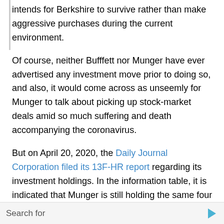intends for Berkshire to survive rather than make aggressive purchases during the current environment.
Of course, neither Bufffett nor Munger have ever advertised any investment move prior to doing so, and also, it would come across as unseemly for Munger to talk about picking up stock-market deals amid so much suffering and death accompanying the coronavirus.
But on April 20, 2020, the Daily Journal Corporation filed its 13F-HR report regarding its investment holdings. In the information table, it is indicated that Munger is still holding the same four holdings that Daily Journal has held for the past decade: $48 million worth of Bank of America stock, $45 million worth of Wells Fargo stock, $5 million worth of U.S. Bancorp stock, and $331,000 worth of Posco stock.
Search for